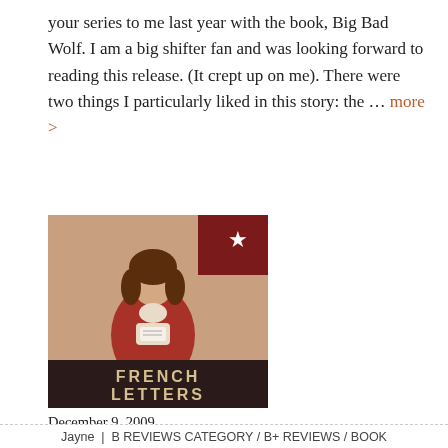your series to me last year with the book, Big Bad Wolf. I am a big shifter fan and was looking forward to reading this release. (It crept up on me). There were two things I particularly liked in this story: the … more >
[Figure (illustration): Book cover for 'French Letters' showing a woman in a red jacket holding papers, with a dark red banner at the bottom reading 'FRENCH LETTERS']
December 9, 2009
REVIEW: French Letters (Virginia's War) by Jack Woodville London
Jayne | B REVIEWS CATEGORY / B+ REVIEWS / BOOK